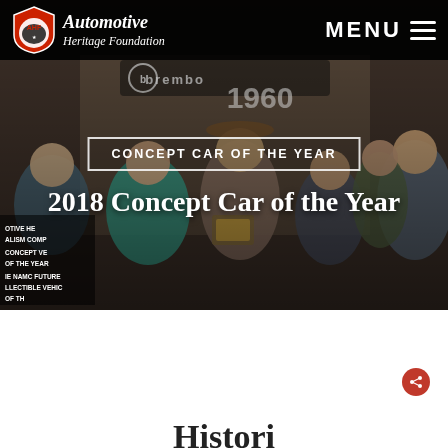Automotive Heritage Foundation — MENU
[Figure (photo): Group of people at an automotive event, with a '1960' display and Brembo branding in the background. Several attendees are smiling and one holds an award plaque.]
CONCEPT CAR OF THE YEAR
2018 Concept Car of the Year
AHA shield logo banners partially visible on left: AUTOMOTIVE HE... ALISM COMP... CONCEPT VE... OF THE YEAR... THE NAMC FUTURE LLECTIBLE VEHIC...